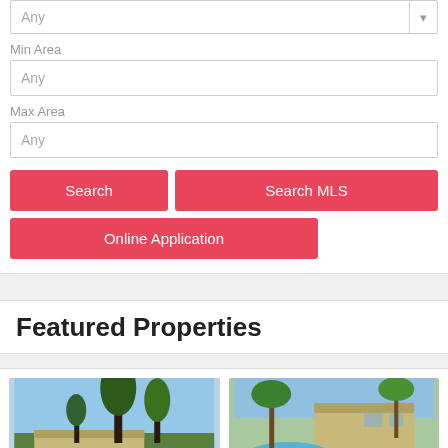Any
Min Area
Any
Max Area
Any
Search
Search MLS
Online Application
Featured Properties
[Figure (photo): Exterior photo of a house with tall trees against a blue sky]
[Figure (photo): Exterior photo of a house with a pool and palm trees]